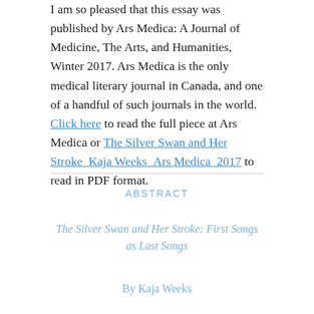I am so pleased that this essay was published by Ars Medica: A Journal of Medicine, The Arts, and Humanities, Winter 2017. Ars Medica is the only medical literary journal in Canada, and one of a handful of such journals in the world. Click here to read the full piece at Ars Medica or The Silver Swan and Her Stroke_Kaja Weeks_Ars Medica_2017 to read in PDF format.
ABSTRACT
The Silver Swan and Her Stroke: First Songs as Last Songs
By Kaja Weeks